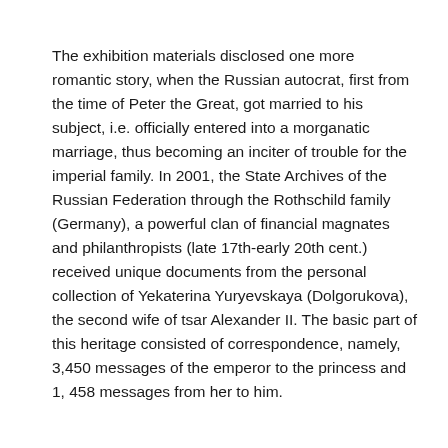The exhibition materials disclosed one more romantic story, when the Russian autocrat, first from the time of Peter the Great, got married to his subject, i.e. officially entered into a morganatic marriage, thus becoming an inciter of trouble for the imperial family. In 2001, the State Archives of the Russian Federation through the Rothschild family (Germany), a powerful clan of financial magnates and philanthropists (late 17th-early 20th cent.) received unique documents from the personal collection of Yekaterina Yuryevskaya (Dolgorukova), the second wife of tsar Alexander II. The basic part of this heritage consisted of correspondence, namely, 3,450 messages of the emperor to the princess and 1, 458 messages from her to him.